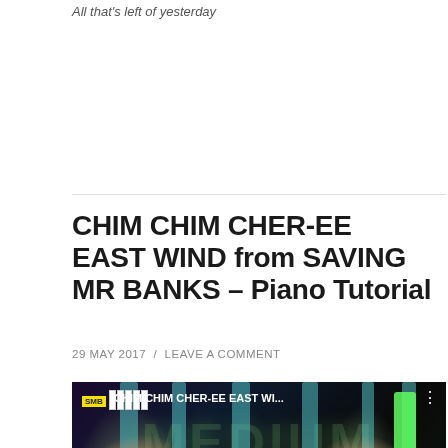All that's left of yesterday
CHIM CHIM CHER-EE EAST WIND from SAVING MR BANKS – Piano Tutorial
29 MAY 2017  /  LEAVE A COMMENT
[Figure (screenshot): YouTube video thumbnail showing a piano tutorial for CHIM CHIM CHER-EE EAST WI... with SMB logo, piano keys, two people's faces, MEDIUM watermark text, falling piano note bars, and a red YouTube play button in the center.]